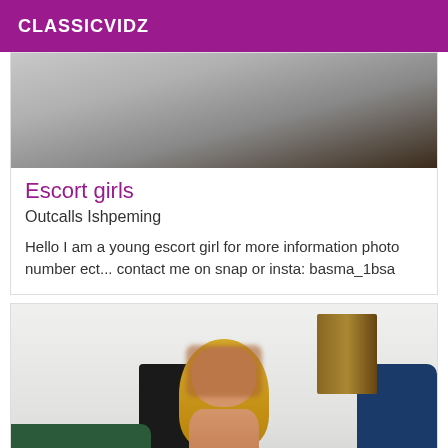CLASSICVIDZ
[Figure (photo): Close-up photo from above showing fabric and skin tones, dark background]
Escort girls
Outcalls Ishpeming
Hello I am a young escort girl for more information photo number ect... contact me on snap or insta: basma_1bsa
[Figure (photo): Photo of a blonde woman with pixelated/blurred face, sitting in an office or room setting with a desk and bookshelves in the background]